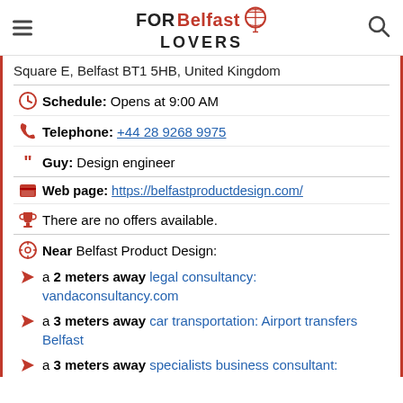FOR Belfast LOVERS
Square E, Belfast BT1 5HB, United Kingdom
Schedule: Opens at 9:00 AM
Telephone: +44 28 9268 9975
Guy: Design engineer
Web page: https://belfastproductdesign.com/
There are no offers available.
Near Belfast Product Design:
a 2 meters away legal consultancy: vandaconsultancy.com
a 3 meters away car transportation: Airport transfers Belfast
a 3 meters away specialists business consultant: